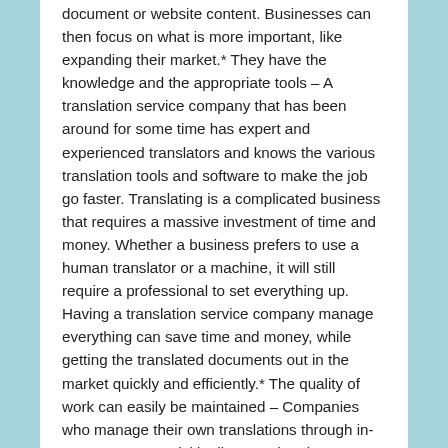document or website content. Businesses can then focus on what is more important, like expanding their market.* They have the knowledge and the appropriate tools – A translation service company that has been around for some time has expert and experienced translators and knows the various translation tools and software to make the job go faster. Translating is a complicated business that requires a massive investment of time and money. Whether a business prefers to use a human translator or a machine, it will still require a professional to set everything up. Having a translation service company manage everything can save time and money, while getting the translated documents out in the market quickly and efficiently.* The quality of work can easily be maintained – Companies who manage their own translations through in-country teams quickly discover that the challenges this set-up creates far outweigh whatever money is saved. For one, language consistency and work quality are easily compromised once a staff member resigns, a new product is introduced or a new department head is assigned. One solution to this is standardizing and controlling the language or expressions used, but this